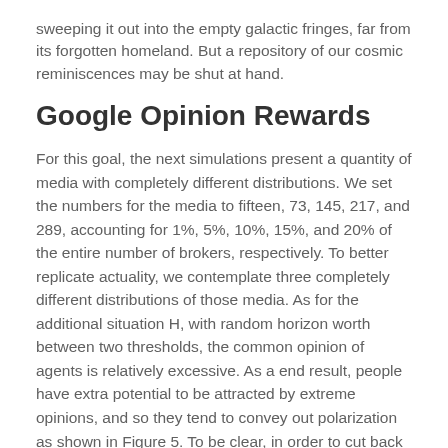sweeping it out into the empty galactic fringes, far from its forgotten homeland. But a repository of our cosmic reminiscences may be shut at hand.
Google Opinion Rewards
For this goal, the next simulations present a quantity of media with completely different distributions. We set the numbers for the media to fifteen, 73, 145, 217, and 289, accounting for 1%, 5%, 10%, 15%, and 20% of the entire number of brokers, respectively. To better replicate actuality, we contemplate three completely different distributions of those media. As for the additional situation H, with random horizon worth between two thresholds, the common opinion of agents is relatively excessive. As a end result, people have extra potential to be attracted by extreme opinions, and so they tend to convey out polarization as shown in Figure 5. To be clear, in order to cut back the randomness, the distribution graph is predicated on all the agents' opinions within the four hundred repeated